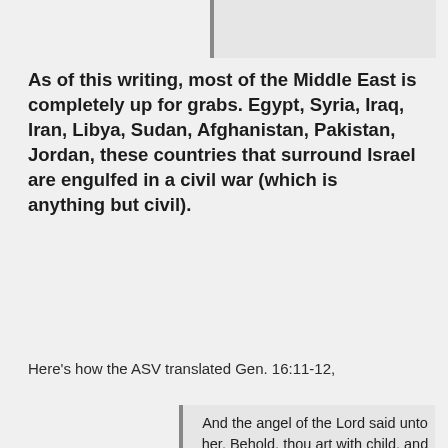As of this writing, most of the Middle East is completely up for grabs. Egypt, Syria, Iraq, Iran, Libya, Sudan, Afghanistan, Pakistan, Jordan, these countries that surround Israel are engulfed in a civil war (which is anything but civil).
Here's how the ASV translated Gen. 16:11-12,
And the angel of the Lord said unto her, Behold, thou art with child, and shalt bear a son. And thou shalt call his name Ishmael, because God hath heard thy affliction. And he shall